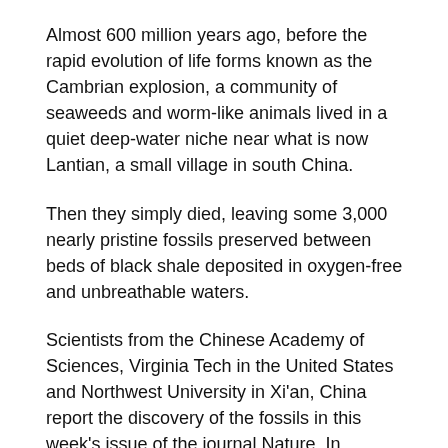Almost 600 million years ago, before the rapid evolution of life forms known as the Cambrian explosion, a community of seaweeds and worm-like animals lived in a quiet deep-water niche near what is now Lantian, a small village in south China.
Then they simply died, leaving some 3,000 nearly pristine fossils preserved between beds of black shale deposited in oxygen-free and unbreathable waters.
Scientists from the Chinese Academy of Sciences, Virginia Tech in the United States and Northwest University in Xi'an, China report the discovery of the fossils in this week's issue of the journal Nature. In addition to ancient versions of algae and worms, the Lantian biota-named for its location-included macrofossils with complex and puzzling structures. In all, scientists have identified some 15 species at the site.
The fossils suggest that structural diversification of macroscopic eukaryotes-the earliest versions of organisms with complex cell structures-may have occurred only tens of millions of years after the Snowball Earth event that ended 635 million years ago. Snowball Earth proposes that the Earth’s surface became almost,